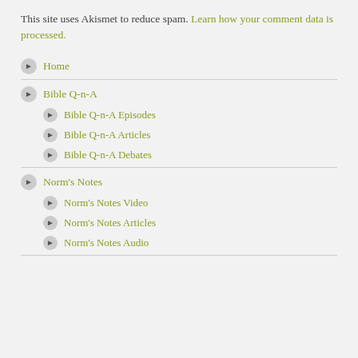This site uses Akismet to reduce spam. Learn how your comment data is processed.
Home
Bible Q-n-A
Bible Q-n-A Episodes
Bible Q-n-A Articles
Bible Q-n-A Debates
Norm's Notes
Norm's Notes Video
Norm's Notes Articles
Norm's Notes Audio